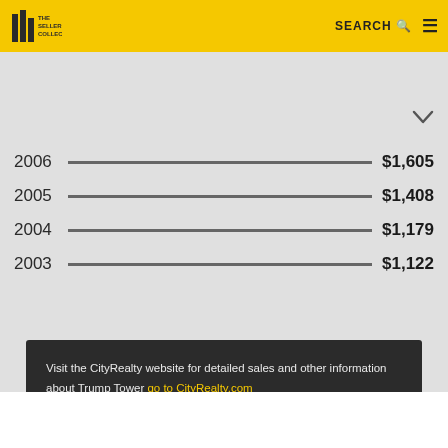The Seller's Collective
[Figure (bar-chart): Average price per square foot by year]
Visit the CityRealty website for detailed sales and other information about Trump Tower go to CityRealty.com